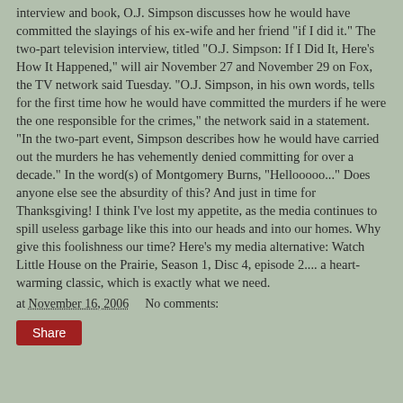interview and book, O.J. Simpson discusses how he would have committed the slayings of his ex-wife and her friend "if I did it." The two-part television interview, titled "O.J. Simpson: If I Did It, Here's How It Happened," will air November 27 and November 29 on Fox, the TV network said Tuesday. "O.J. Simpson, in his own words, tells for the first time how he would have committed the murders if he were the one responsible for the crimes," the network said in a statement. "In the two-part event, Simpson describes how he would have carried out the murders he has vehemently denied committing for over a decade." In the word(s) of Montgomery Burns, "Hellooooo..." Does anyone else see the absurdity of this? And just in time for Thanksgiving! I think I've lost my appetite, as the media continues to spill useless garbage like this into our heads and into our homes. Why give this foolishness our time? Here's my media alternative: Watch Little House on the Prairie, Season 1, Disc 4, episode 2.... a heart-warming classic, which is exactly what we need.
at November 16, 2006   No comments:
Share